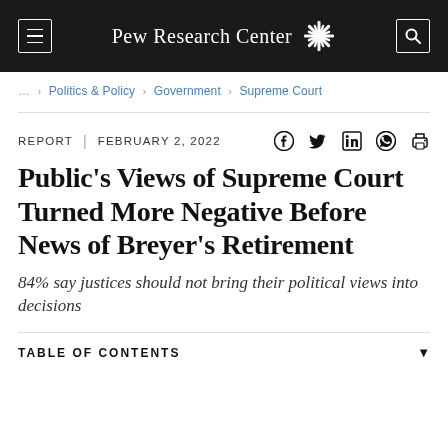Pew Research Center
... > Politics & Policy > Government > Supreme Court
REPORT | FEBRUARY 2, 2022
Public's Views of Supreme Court Turned More Negative Before News of Breyer's Retirement
84% say justices should not bring their political views into decisions
TABLE OF CONTENTS